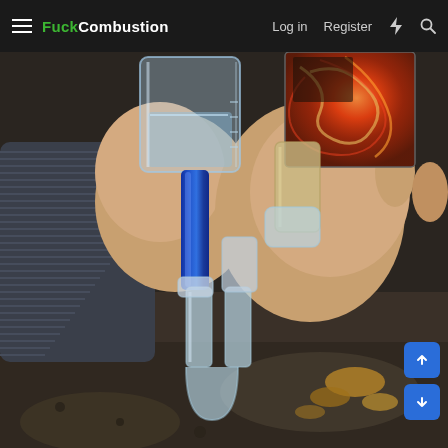FuckCombustion — Log in  Register
[Figure (photo): Close-up photo of hands holding glass vaporizer water pipe components outdoors. A clear glass jar/bubbler with water is visible, connected to a blue glass stem and a J-curved clear glass tube connector. The right hand holds a colorful vaporizer device with swirled red/orange/gold pattern. Background shows autumn leaves on the ground.]